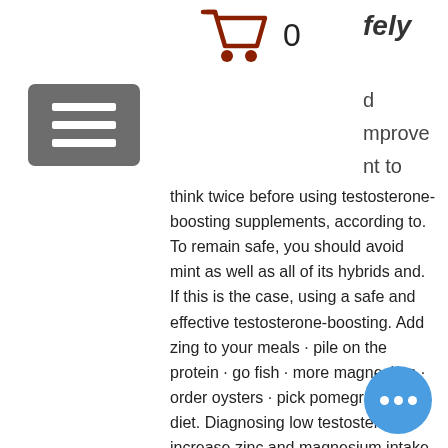[Figure (logo): EnviroColor logo with green 'ENVIRO' text, brown 'CoLoR' text with registered trademark, dotted spray graphic, and tagline 'Perfect Solutions for Pine Straw, Mulch and Grass']
l to he itness about
[Figure (other): Shopping cart icon with count '0']
fely d mprove nt to
[Figure (other): Hamburger menu button (three horizontal lines on gray background)]
think twice before using testosterone-boosting supplements, according to. To remain safe, you should avoid mint as well as all of its hybrids and. If this is the case, using a safe and effective testosterone-boosting. Add zing to your meals · pile on the protein · go fish · more magnesium · order oysters · pick pomegranate · diet. Diagnosing low testosterone · increase zinc and magnesium intake · get to a healthy